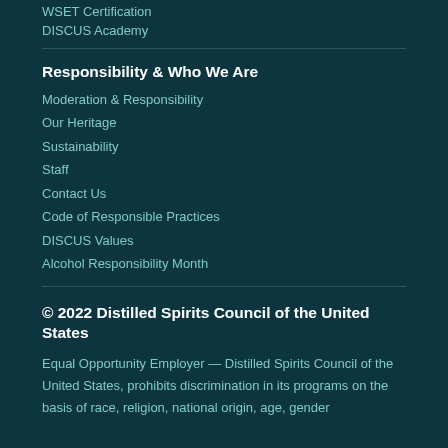WSET Certification
DISCUS Academy
Responsibility & Who We Are
Moderation & Responsibility
Our Heritage
Sustainability
Staff
Contact Us
Code of Responsible Practices
DISCUS Values
Alcohol Responsibility Month
© 2022 Distilled Spirits Council of the United States
Equal Opportunity Employer — Distilled Spirits Council of the United States, prohibits discrimination in its programs on the basis of race, religion, national origin, age, gender